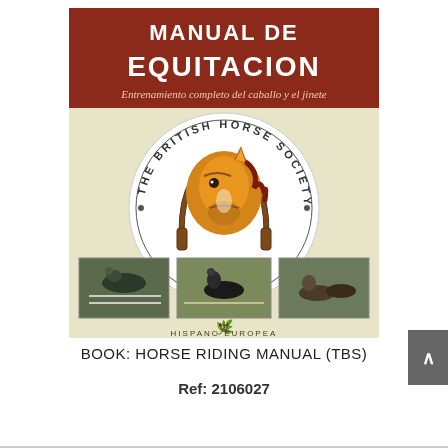[Figure (illustration): Book cover of 'Manual de Equitacion' (Horse Riding Manual) published by Hispano Europea, featuring The British Horse Society logo with a horse head inside a horseshoe emblem, three equestrian photos at the bottom (show jumping, dressage, riding), and a dark red title banner at top.]
BOOK: HORSE RIDING MANUAL (TBS)
Ref: 2106027